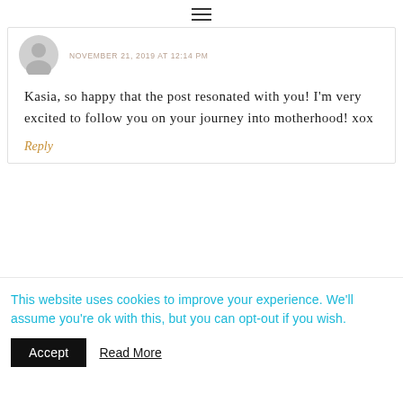☰
NOVEMBER 21, 2019 AT 12:14 PM
Kasia, so happy that the post resonated with you! I'm very excited to follow you on your journey into motherhood! xox
Reply
This website uses cookies to improve your experience. We'll assume you're ok with this, but you can opt-out if you wish.
Accept
Read More